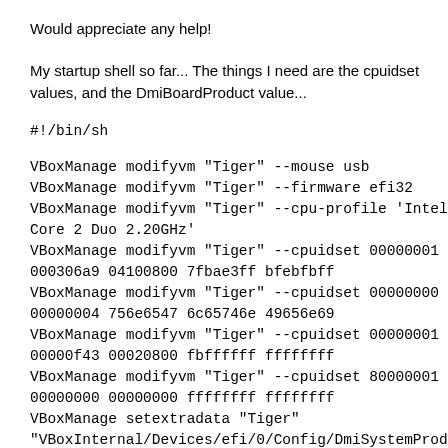Would appreciate any help!
My startup shell so far... The things I need are the cpuidset values, and the DmiBoardProduct value...
#!/bin/sh
VBoxManage modifyvm "Tiger" --mouse usb
VBoxManage modifyvm "Tiger" --firmware efi32
VBoxManage modifyvm "Tiger" --cpu-profile 'Intel Core 2 Duo 2.20GHz'
VBoxManage modifyvm "Tiger" --cpuidset 00000001 000306a9 04100800 7fbae3ff bfebfbff
VBoxManage modifyvm "Tiger" --cpuidset 00000000 00000004 756e6547 6c65746e 49656e69
VBoxManage modifyvm "Tiger" --cpuidset 00000001 00000f43 00020800 fbffffff ffffffff
VBoxManage modifyvm "Tiger" --cpuidset 80000001 00000000 00000000 ffffffff ffffffff
VBoxManage setextradata "Tiger" "VBoxInternal/Devices/efi/0/Config/DmiSystemProduct" "MacBookPro3,1"
VBoxManage setextradata "Tiger"
"VBoxInternal/Devices/efi/0/Config/DmiBIOSVersion"